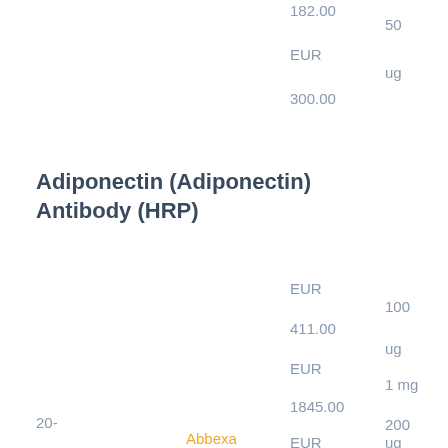182.00
50
EUR
ug
300.00
Adiponectin (Adiponectin) Antibody (HRP)
EUR
100
411.00
ug
EUR
1 mg
1845.00
200
20-
EUR
ug
Abbexa
500.00